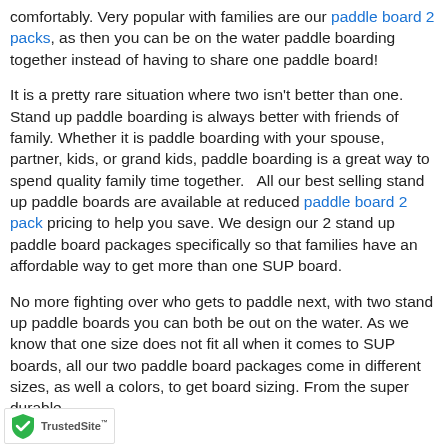comfortably. Very popular with families are our paddle board 2 packs, as then you can be on the water paddle boarding together instead of having to share one paddle board!
It is a pretty rare situation where two isn't better than one. Stand up paddle boarding is always better with friends of family. Whether it is paddle boarding with your spouse, partner, kids, or grand kids, paddle boarding is a great way to spend quality family time together.   All our best selling stand up paddle boards are available at reduced paddle board 2 pack pricing to help you save. We design our 2 stand up paddle board packages specifically so that families have an affordable way to get more than one SUP board.
No more fighting over who gets to paddle next, with two stand up paddle boards you can both be out on the water. As we know that one size does not fit all when it comes to SUP boards, all our two paddle board packages come in different sizes, as well a colors, to get board sizing. From the super durable
[Figure (logo): TrustedSite badge with green shield checkmark logo and TrustedSite text]